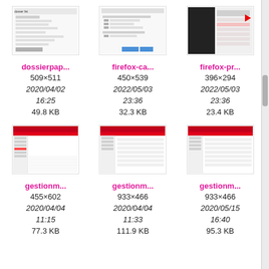[Figure (screenshot): Thumbnail of dossierpapier screenshot, form-like interface]
[Figure (screenshot): Thumbnail of firefox-ca screenshot, browser settings/checkboxes]
[Figure (screenshot): Thumbnail of firefox-pr screenshot, browser menu with red arrow]
dossierpap...
509×511
2020/04/02
16:25
49.8 KB
firefox-ca...
450×539
2022/05/03
23:36
32.3 KB
firefox-pr...
396×294
2022/05/03
23:36
23.4 KB
[Figure (screenshot): Thumbnail of gestionm screenshot 1, red application window with calendar]
[Figure (screenshot): Thumbnail of gestionm screenshot 2, red application window]
[Figure (screenshot): Thumbnail of gestionm screenshot 3, red application window]
gestionm...
455×602
2020/04/04
11:15
77.3 KB
gestionm...
933×466
2020/04/04
11:33
111.9 KB
gestionm...
933×466
2020/05/15
16:40
95.3 KB